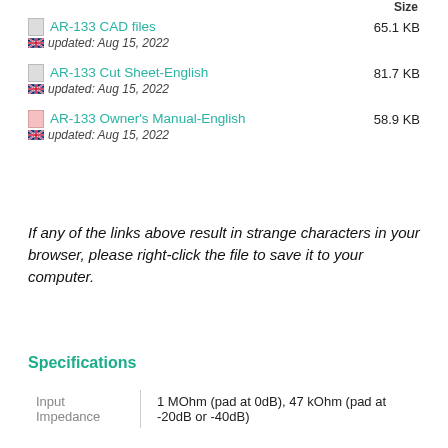Size
AR-133 CAD files
updated: Aug 15, 2022
65.1 KB
AR-133 Cut Sheet-English
updated: Aug 15, 2022
81.7 KB
AR-133 Owner's Manual-English
updated: Aug 15, 2022
58.9 KB
If any of the links above result in strange characters in your browser, please right-click the file to save it to your computer.
Specifications
|  |  |
| --- | --- |
| Input
Impedance | 1 MOhm (pad at 0dB), 47 kOhm (pad at -20dB or -40dB) |